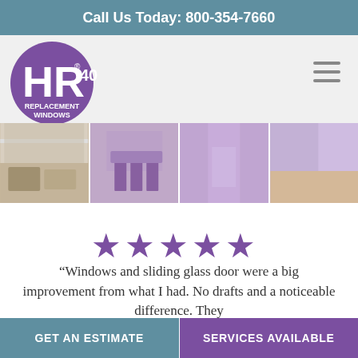Call Us Today: 800-354-7660
[Figure (logo): HR40 Replacement Windows circular purple logo]
[Figure (photo): Four interior room photos showing windows and natural light, with purple tint overlay on three]
[Figure (infographic): Five purple star rating icons]
“Windows and sliding glass door were a big improvement from what I had. No drafts and a noticeable difference. They
GET AN ESTIMATE | SERVICES AVAILABLE